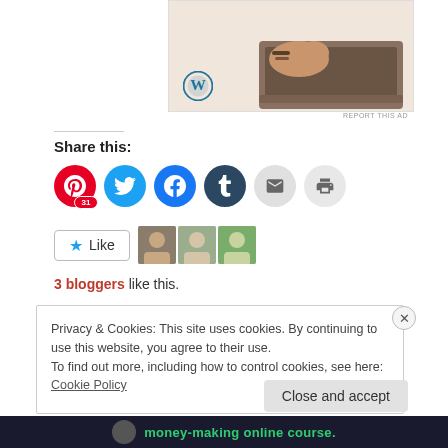[Figure (photo): Advertisement image showing a person typing on a laptop, with a WordPress logo in the bottom-left corner. Beige/cream background.]
REPORT THIS AD
Share this:
[Figure (infographic): Social share buttons: Pinterest (31), Twitter, Facebook, Tumblr, Email, Print]
[Figure (infographic): Like button with star icon and 3 blogger avatar thumbnails]
3 bloggers like this.
Privacy & Cookies: This site uses cookies. By continuing to use this website, you agree to their use. To find out more, including how to control cookies, see here: Cookie Policy
Close and accept